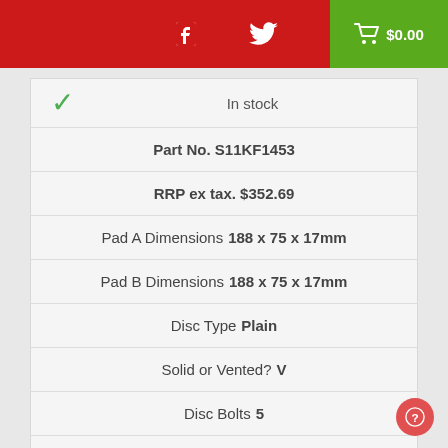Facebook Twitter $0.00
| ✓ | In stock |
| Part No. S11KF1453 |
| RRP ex tax. $352.69 |
| Pad A Dimensions 188 x 75 x 17mm |
| Pad B Dimensions 188 x 75 x 17mm |
| Disc Type Plain |
| Solid or Vented? V |
| Disc Bolts 5 |
| Disc Diameter 320mm |
| Disc Height 52.2mm |